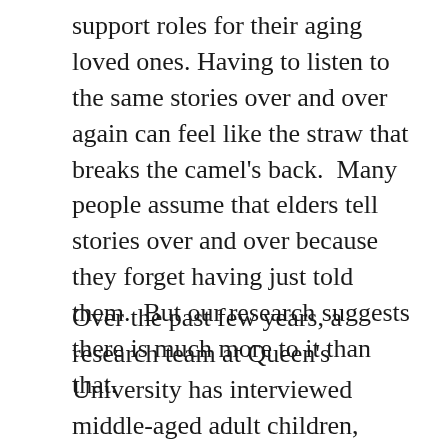support roles for their aging loved ones. Having to listen to the same stories over and over again can feel like the straw that breaks the camel's back.  Many people assume that elders tell stories over and over because they forget having just told them.  But our research suggests there is much more to it than that.
Over the past few years, a research team at Queen's University has interviewed middle-aged adult children, asking them to tell us the stories they feel they have heard repeatedly from their aging parents.  This research is an attempt to ease the burden of caregiving by